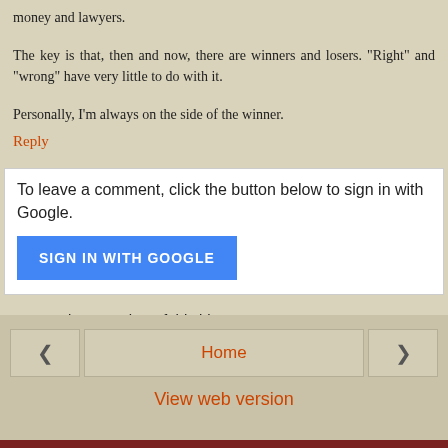money and lawyers.
The key is that, then and now, there are winners and losers. "Right" and "wrong" have very little to do with it.
Personally, I'm always on the side of the winner.
Reply
To leave a comment, click the button below to sign in with Google.
SIGN IN WITH GOOGLE
Note: Only a member of this blog may post a comment.
Home | View web version